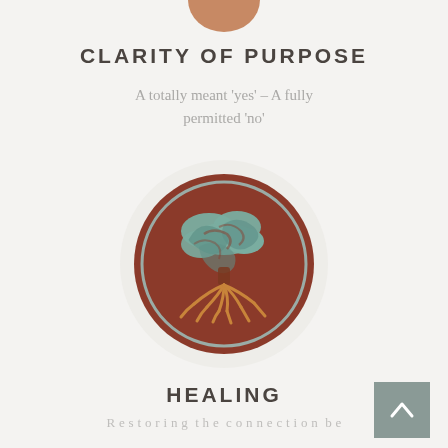[Figure (illustration): Partial view of a circular medallion/logo at top of page, terracotta/brown colored]
CLARITY OF PURPOSE
A totally meant 'yes' – A fully permitted 'no'
[Figure (illustration): Circular medallion with dark terracotta/rust red background, featuring a stylized tree with teal/sage green swirling canopy and golden-brown roots, surrounded by a gray circle border, all on a light circular background]
HEALING
Partial text visible at bottom of page